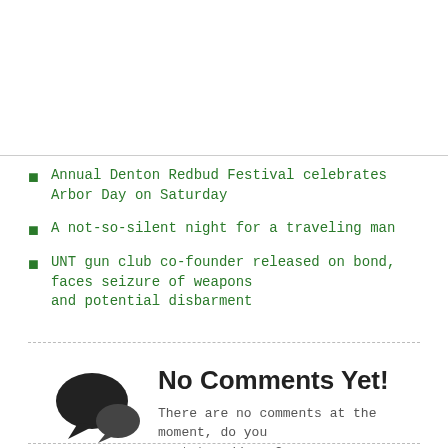Annual Denton Redbud Festival celebrates Arbor Day on Saturday
A not-so-silent night for a traveling man
UNT gun club co-founder released on bond, faces seizure of weapons and potential disbarment
No Comments Yet!
There are no comments at the moment, do you want to add one?
Write a comment